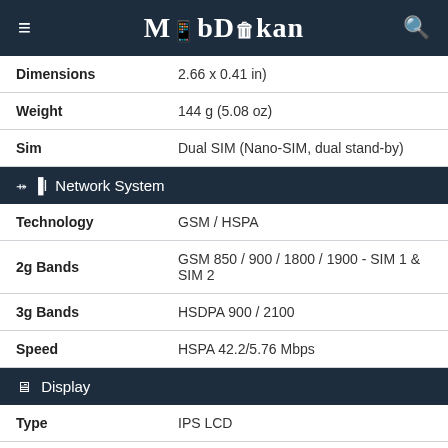MobDokan
| Spec | Value |
| --- | --- |
| Dimensions | 2.66 x 0.41 in) |
| Weight | 144 g (5.08 oz) |
| Sim | Dual SIM (Nano-SIM, dual stand-by) |
| Network System |  |
| Technology | GSM / HSPA |
| 2g Bands | GSM 850 / 900 / 1800 / 1900 - SIM 1 & SIM 2 |
| 3g Bands | HSDPA 900 / 2100 |
| Speed | HSPA 42.2/5.76 Mbps |
| Display |  |
| Type | IPS LCD |